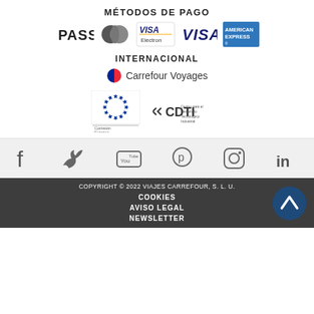MÉTODOS DE PAGO
[Figure (logo): Payment method logos: PASS, MasterCard, VISA Electron, VISA, American Express]
INTERNACIONAL
[Figure (logo): French flag icon followed by Carrefour Voyages text]
[Figure (logo): Comisión Europea logo and CDTI logo]
[Figure (infographic): Social media icons: Facebook, Twitter, YouTube, Pinterest, Instagram, LinkedIn]
COPYRIGHT © 2022 VIAJES CARREFOUR, S. L. U.
COOKIES
AVISO LEGAL
NEWSLETTER